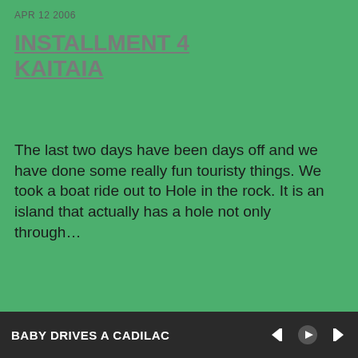APR 12 2006
INSTALLMENT 4 KAITAIA
The last two days have been days off and we have done some really fun touristy things. We took a boat ride out to Hole in the rock. It is an island that actually has a hole not only through…
Read more
[Figure (other): Gray image placeholder with a white play triangle in the center bottom area]
BABY DRIVES A CADILAC